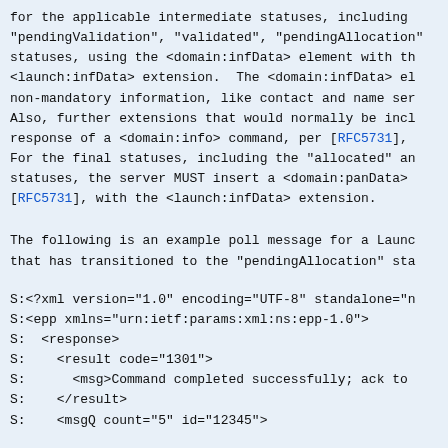for the applicable intermediate statuses, including "pendingValidation", "validated", "pendingAllocation" statuses, using the <domain:infData> element with the <launch:infData> extension.  The <domain:infData> element non-mandatory information, like contact and name ser Also, further extensions that would normally be included response of a <domain:info> command, per [RFC5731], For the final statuses, including the "allocated" and statuses, the server MUST insert a <domain:panData> [RFC5731], with the <launch:infData> extension.
The following is an example poll message for a Launch that has transitioned to the "pendingAllocation" sta
S:<?xml version="1.0" encoding="UTF-8" standalone="n
S:<epp xmlns="urn:ietf:params:xml:ns:epp-1.0">
S:  <response>
S:    <result code="1301">
S:      <msg>Command completed successfully; ack to
S:    </result>
S:    <msgQ count="5" id="12345">